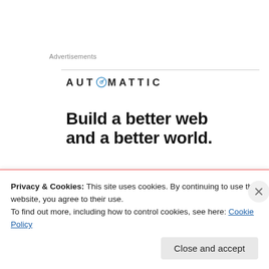Advertisements
[Figure (logo): Automattic logo with compass icon replacing the 'O' in AUTOMATTIC]
Build a better web and a better world.
[Figure (illustration): Blue 'Apply' button and partial image of a person with glasses]
Privacy & Cookies: This site uses cookies. By continuing to use this website, you agree to their use.
To find out more, including how to control cookies, see here: Cookie Policy
Close and accept